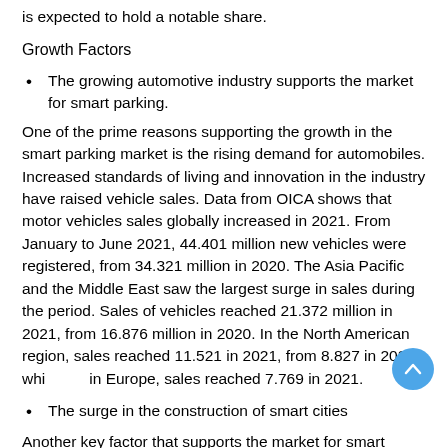is expected to hold a notable share.
Growth Factors
The growing automotive industry supports the market for smart parking.
One of the prime reasons supporting the growth in the smart parking market is the rising demand for automobiles. Increased standards of living and innovation in the industry have raised vehicle sales. Data from OICA shows that motor vehicles sales globally increased in 2021. From January to June 2021, 44.401 million new vehicles were registered, from 34.321 million in 2020. The Asia Pacific and the Middle East saw the largest surge in sales during the period. Sales of vehicles reached 21.372 million in 2021, from 16.876 million in 2020. In the North American region, sales reached 11.521 in 2021, from 8.827 in 2020, while in Europe, sales reached 7.769 in 2021.
The surge in the construction of smart cities
Another key factor that supports the market for smart parking is a